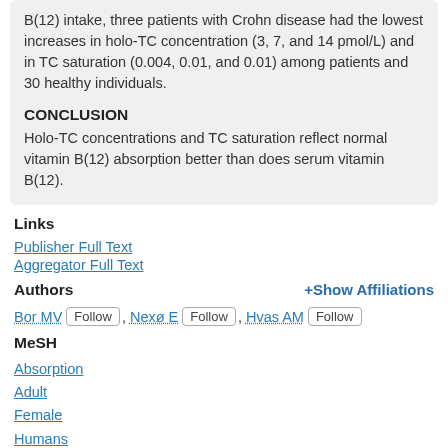B(12) intake, three patients with Crohn disease had the lowest increases in holo-TC concentration (3, 7, and 14 pmol/L) and in TC saturation (0.004, 0.01, and 0.01) among patients and 30 healthy individuals.
CONCLUSION
Holo-TC concentrations and TC saturation reflect normal vitamin B(12) absorption better than does serum vitamin B(12).
Links
Publisher Full Text
Aggregator Full Text
Authors
+Show Affiliations
Bor MV  Follow , Nexø E  Follow , Hvas AM  Follow
MeSH
Absorption
Adult
Female
Humans
Male
Middle Aged